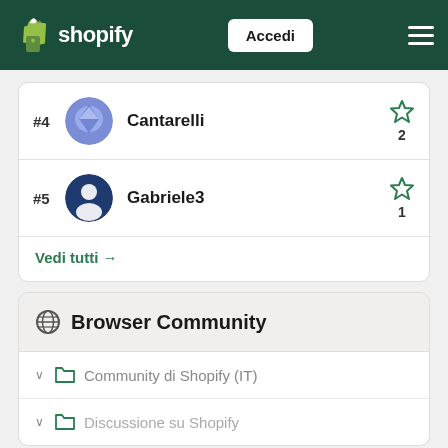shopify — Accedi
#4 Cantarelli — 2 stars
#5 Gabriele3 — 1 star
Vedi tutti →
Browser Community
Community di Shopify (IT)
Discussione su Shopify